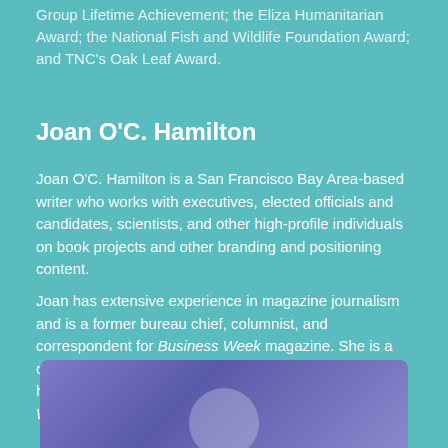Group Lifetime Achievement; the Eliza Humanitarian Award; the National Fish and Wildlife Foundation Award; and TNC's Oak Leaf Award.
Joan O’C. Hamilton
Joan O’C. Hamilton is a San Francisco Bay Area-based writer who works with executives, elected officials and candidates, scientists, and other high-profile individuals on book projects and other branding and positioning content.
Joan has extensive experience in magazine journalism and is a former bureau chief, columnist, and correspondent for Business Week magazine. She is a contributing editor at Stanford Magazine and her work has appeared in The New York Times, Town & Country, Wired, The Boston Globe, and many other publications.
[Figure (photo): A purple/blue gradient background with a partial circular silhouette at the bottom center, suggesting a person's head/shoulders portrait photo beginning at the bottom of the page.]